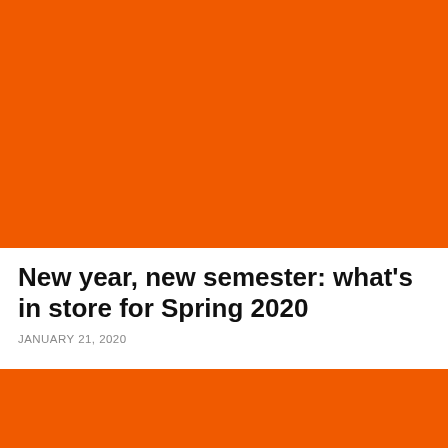[Figure (photo): Large solid orange/red-orange rectangle image block at the top of the page]
New year, new semester: what's in store for Spring 2020
JANUARY 21, 2020
[Figure (photo): Solid orange/red-orange rectangle image block at the bottom of the page]